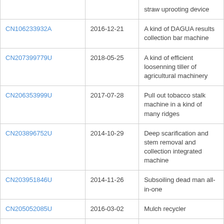|  |  | straw uprooting device |
| CN106233932A | 2016-12-21 | A kind of DAGUA results collection bar machine |
| CN207399779U | 2018-05-25 | A kind of efficient loosenning tiller of agricultural machinery |
| CN206353999U | 2017-07-28 | Pull out tobacco stalk machine in a kind of many ridges |
| CN203896752U | 2014-10-29 | Deep scarification and stem removal and collection integrated machine |
| CN203951846U | 2014-11-26 | Subsoiling dead man all-in-one |
| CN205052085U | 2016-03-02 | Mulch recycler |
| CN200941750Y | 2007-09-05 | Massive roots harvester |
| CN201004819Y | 2008-01-16 | Horizontal rotary type cotton stalk puller |